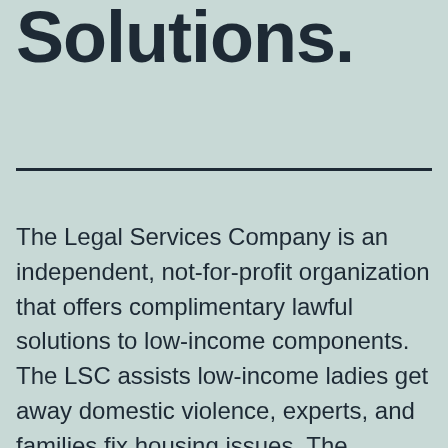Solutions.
The Legal Services Company is an independent, not-for-profit organization that offers complimentary lawful solutions to low-income components. The LSC assists low-income ladies get away domestic violence, experts, and families fix housing issues. The organization also하 helps...